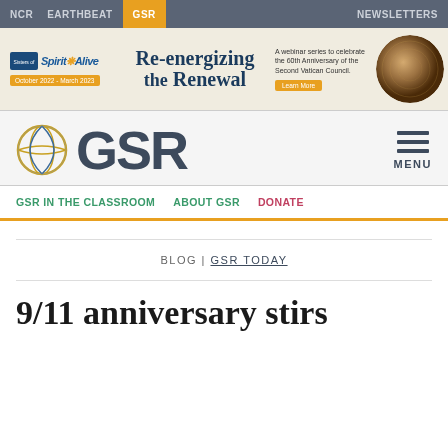NCR  EARTHBEAT  GSR  NEWSLETTERS
[Figure (screenshot): Advertisement banner for 'Spirit Alive - Re-energizing the Renewal' webinar series, October 2022 - March 2023, celebrating the 60th Anniversary of the Second Vatican Council. Includes a Learn More button.]
[Figure (logo): GSR logo with globe icon and large GSR text, with hamburger menu icon and MENU label on the right]
GSR IN THE CLASSROOM  ABOUT GSR  DONATE
BLOG | GSR TODAY
9/11 anniversary stirs